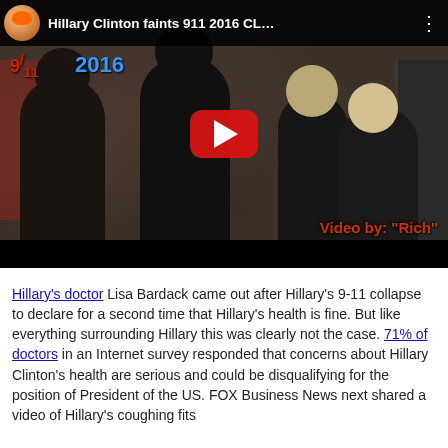[Figure (screenshot): YouTube video thumbnail showing 'Hillary Clinton faints 911 2016 CL...' with dark silhouetted figures, a red YouTube play button, date overlay '9/11 2016', and watermark 'Video by "Rich"']
Hillary's doctor Lisa Bardack came out after Hillary's 9-11 collapse to declare for a second time that Hillary's health is fine. But like everything surrounding Hillary this was clearly not the case. 71% of doctors in an Internet survey responded that concerns about Hillary Clinton's health are serious and could be disqualifying for the position of President of the US. FOX Business News next shared a video of Hillary's coughing fits